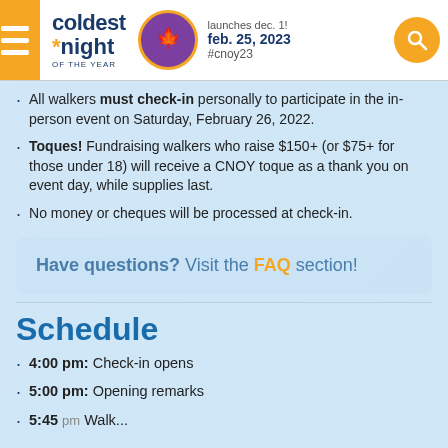coldest *night of the year | launches dec. 1! feb. 25, 2023 #cnoy23
All walkers must check-in personally to participate in the in-person event on Saturday, February 26, 2022.
Toques! Fundraising walkers who raise $150+ (or $75+ for those under 18) will receive a CNOY toque as a thank you on event day, while supplies last.
No money or cheques will be processed at check-in.
Have questions? Visit the FAQ section!
Schedule
4:00 pm: Check-in opens
5:00 pm: Opening remarks
5:45 pm: Walkers set off (all distances)